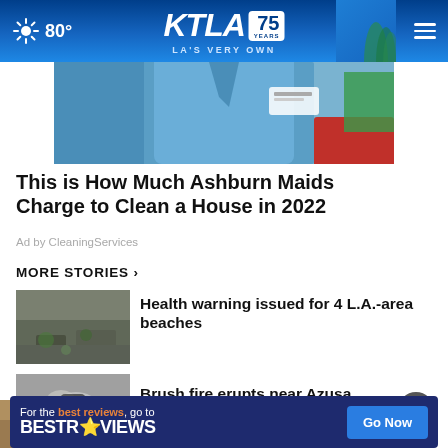80° KTLA 75 YEARS LA'S VERY OWN
[Figure (photo): Person in blue work shirt, partial torso visible, advertisement image]
This is How Much Ashburn Maids Charge to Clean a House in 2022
Ad by CleaningServices
MORE STORIES ›
[Figure (photo): Thumbnail image of L.A. beach area for health warning story]
Health warning issued for 4 L.A.-area beaches
[Figure (photo): Thumbnail video image of brush fire near Azusa]
Brush fire erupts near Azusa
[Figure (photo): Partially visible thumbnail image at bottom]
[Figure (screenshot): Bottom advertisement banner: For the best reviews, go to BESTREVIEWS - Go Now button]